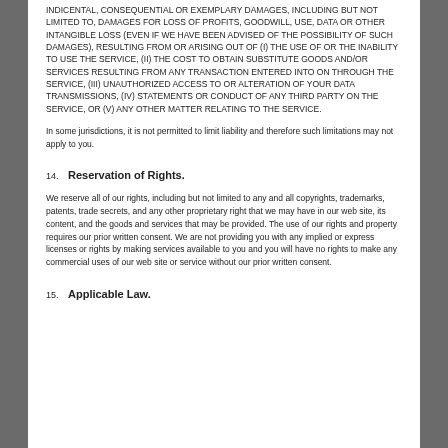INDICENTAL, CONSEQUENTIAL OR EXEMPLARY DAMAGES, INCLUDING BUT NOT LIMITED TO, DAMAGES FOR LOSS OF PROFITS, GOODWILL, USE, DATA OR OTHER INTANGIBLE LOSS (EVEN IF WE HAVE BEEN ADVISED OF THE POSSIBILITY OF SUCH DAMAGES), RESULTING FROM OR ARISING OUT OF (I) THE USE OF OR THE INABILITY TO USE THE SERVICE, (II) THE COST TO OBTAIN SUBSTITUTE GOODS AND/OR SERVICES RESULTING FROM ANY TRANSACTION ENTERED INTO ON THROUGH THE SERVICE, (III) UNAUTHORIZED ACCESS TO OR ALTERATION OF YOUR DATA TRANSMISSIONS, (IV) STATEMENTS OR CONDUCT OF ANY THIRD PARTY ON THE SERVICE, OR (V) ANY OTHER MATTER RELATING TO THE SERVICE.
In some jurisdictions, it is not permitted to limit liability and therefore such limitations may not apply to you.
14. Reservation of Rights.
We reserve all of our rights, including but not limited to any and all copyrights, trademarks, patents, trade secrets, and any other proprietary right that we may have in our web site, its content, and the goods and services that may be provided. The use of our rights and property requires our prior written consent. We are not providing you with any implied or express licenses or rights by making services available to you and you will have no rights to make any commercial uses of our web site or service without our prior written consent.
15. Applicable Law.